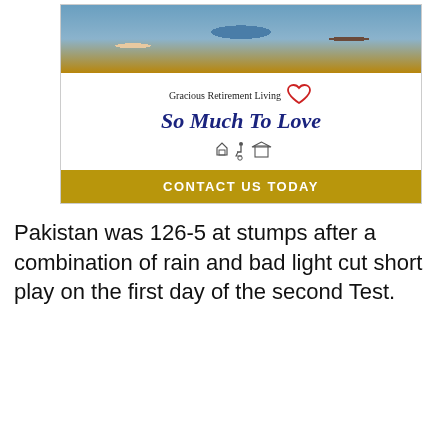[Figure (photo): Advertisement for Gracious Retirement Living showing elderly residents and a caregiver at the top, with white panel containing brand name, tagline 'So Much To Love', accessibility icons, and a gold 'CONTACT US TODAY' call-to-action bar.]
Pakistan was 126-5 at stumps after a combination of rain and bad light cut short play on the first day of the second Test.